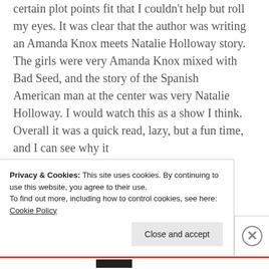certain plot points fit that I couldn't help but roll my eyes. It was clear that the author was writing an Amanda Knox meets Natalie Holloway story. The girls were very Amanda Knox mixed with Bad Seed, and the story of the Spanish American man at the center was very Natalie Holloway. I would watch this as a show I think. Overall it was a quick read, lazy, but a fun time, and I can see why it
Privacy & Cookies: This site uses cookies. By continuing to use this website, you agree to their use.
To find out more, including how to control cookies, see here: Cookie Policy
Close and accept